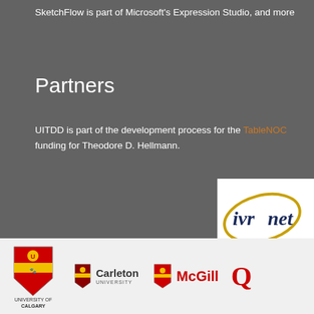SketchFlow is part of Microsoft's Expression Studio, and more
Partners
UITDD is part of the development process for the TableNOC funding for Theodore D. Hellmann.
[Figure (logo): IVRnet logo with gold oval ring and dark blue text]
[Figure (logo): University of Calgary shield logo and text]
[Figure (logo): Carleton University shield logo and text]
[Figure (logo): McGill University shield logo and red text]
[Figure (logo): Partial logo starting with letter Q (Queen's University)]